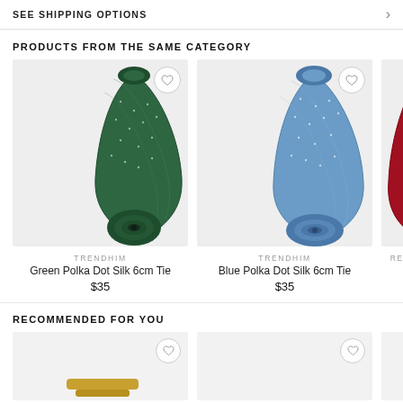SEE SHIPPING OPTIONS
PRODUCTS FROM THE SAME CATEGORY
[Figure (photo): Green Polka Dot Silk 6cm Tie product photo on light grey background]
TRENDHIM
Green Polka Dot Silk 6cm Tie
$35
[Figure (photo): Blue Polka Dot Silk 6cm Tie product photo on light grey background]
TRENDHIM
Blue Polka Dot Silk 6cm Tie
$35
[Figure (photo): Partial view of a red polka dot tie, cropped at right edge]
RECOMMENDED FOR YOU
[Figure (photo): Partial product image - gold item, bottom partially visible]
[Figure (photo): Partial product image - second recommended item, partially visible]
[Figure (photo): Partial product image - third recommended item, cropped at right edge]